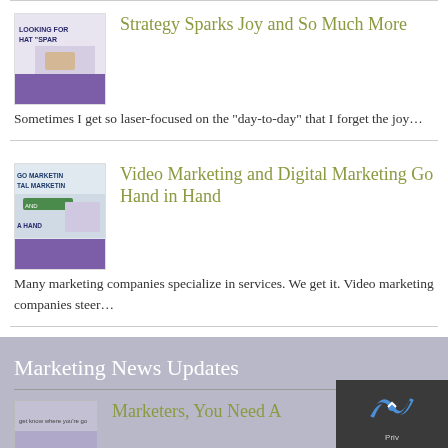[Figure (photo): Thumbnail image for Strategy Sparks Joy article showing hands and text LOOKING FOR HAT SPAR]
Strategy Sparks Joy and So Much More
Sometimes I get so laser-focused on the “day-to-day” that I forget the joy…
[Figure (photo): Thumbnail image for Video Marketing article showing GO MARKETING TAL MARKETING AND A HAND text]
Video Marketing and Digital Marketing Go Hand in Hand
Many marketing companies specialize in services. We get it. Video marketing companies steer…
Marketing News Updates
[Figure (photo): Small thumbnail with text get know where you're go]
Marketers, You Need A